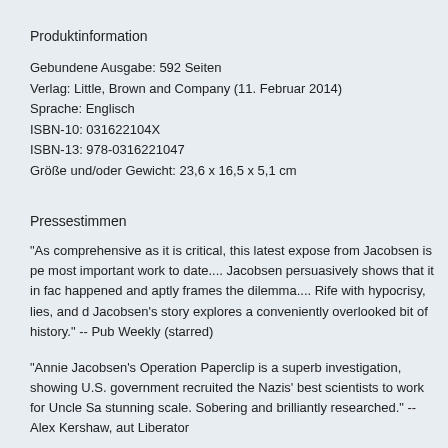Produktinformation
Gebundene Ausgabe: 592 Seiten
Verlag: Little, Brown and Company (11. Februar 2014)
Sprache: Englisch
ISBN-10: 031622104X
ISBN-13: 978-0316221047
Größe und/oder Gewicht: 23,6 x 16,5 x 5,1 cm
Pressestimmen
"As comprehensive as it is critical, this latest expose from Jacobsen is pe most important work to date.... Jacobsen persuasively shows that it in fac happened and aptly frames the dilemma.... Rife with hypocrisy, lies, and d Jacobsen's story explores a conveniently overlooked bit of history." -- Pub Weekly (starred)
"Annie Jacobsen's Operation Paperclip is a superb investigation, showing U.S. government recruited the Nazis' best scientists to work for Uncle Sa stunning scale. Sobering and brilliantly researched." -- Alex Kershaw, aut Liberator